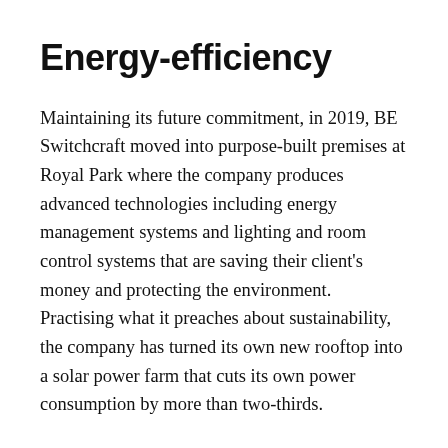Energy-efficiency
Maintaining its future commitment, in 2019, BE Switchcraft moved into purpose-built premises at Royal Park where the company produces advanced technologies including energy management systems and lighting and room control systems that are saving their client’s money and protecting the environment. Practising what it preaches about sustainability, the company has turned its own new rooftop into a solar power farm that cuts its own power consumption by more than two-thirds.
“Managing energy has never been more important